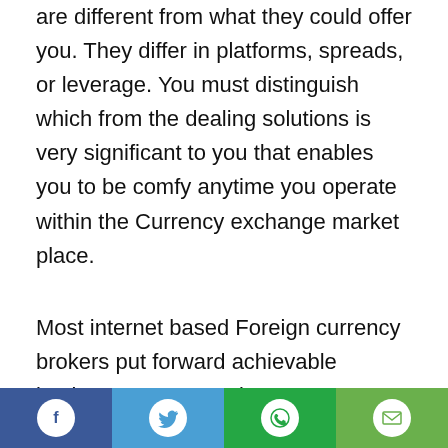are different from what they could offer you. They differ in platforms, spreads, or leverage. You must distinguish which from the dealing solutions is very significant to you that enables you to be comfy anytime you operate within the Currency exchange market place.
Most internet based Foreign currency brokers put forward achievable business partners using a demonstration account. This would allow you to verify out their investing platform without having really risking funds. It really is advisable to search for a demonstration platform that works just like the real factor and also you'll
[Figure (infographic): Social media share bar with four icons: Facebook (dark blue), Twitter (light blue), WhatsApp (green), Email (light green)]